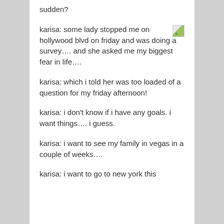sudden?
karisa: some lady stopped me on hollywood blvd on friday and was doing a survey…. and she asked me my biggest fear in life….
karisa: which i told her was too loaded of a question for my friday afternoon!
karisa: i don't know if i have any goals. i want things…. i guess.
karisa: i want to see my family in vegas in a couple of weeks….
karisa: i want to go to new york this